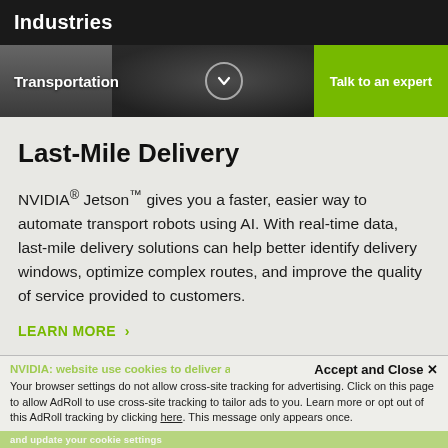Industries
[Figure (screenshot): Navigation bar with Transportation label, dropdown chevron icon, and green Talk to an expert CTA button, over a dark background with camera/binoculars imagery]
Last-Mile Delivery
NVIDIA® Jetson™ gives you a faster, easier way to automate transport robots using AI. With real-time data, last-mile delivery solutions can help better identify delivery windows, optimize complex routes, and improve the quality of service provided to customers.
LEARN MORE ›
Accept and Close ✕
Your browser settings do not allow cross-site tracking for advertising. Click on this page to allow AdRoll to use cross-site tracking to tailor ads to you. Learn more or opt out of this AdRoll tracking by clicking here. This message only appears once.